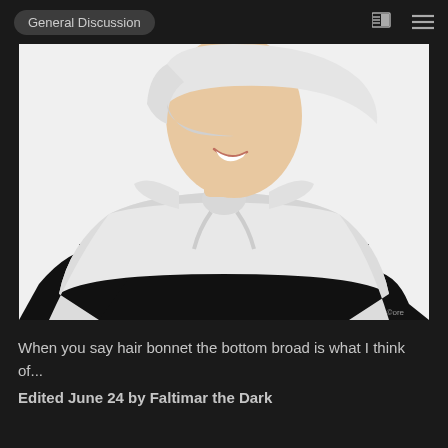General Discussion
[Figure (photo): A person wearing a white Pilgrim-style hair bonnet and white collar/capelet with a large bow tie, over a black outfit. The photo shows the person from shoulders up, smiling, on a white background. A small watermark '©ore' appears in the bottom right.]
When you say hair bonnet the bottom broad is what I think of...
Edited June 24 by Faltimar the Dark